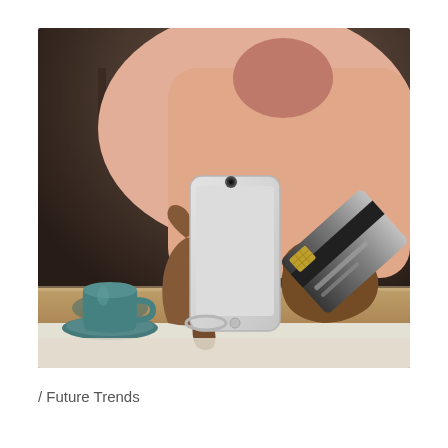[Figure (photo): A person holding a white smartphone in one hand and a dark credit/debit card in the other hand, sitting at a wooden table with a teal coffee cup and saucer in the background. The person is wearing a pink shirt. The scene suggests mobile banking or online payment.]
/ Future Trends